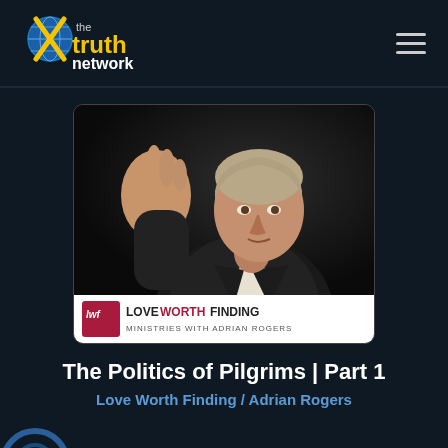the truth network
[Figure (photo): Podcast thumbnail showing a man in a dark suit gesturing with raised hand, with Love Worth Finding Ministries with Adrian Rogers logo at the bottom]
The Politics of Pilgrims | Part 1
Love Worth Finding / Adrian Rogers